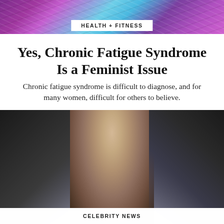HEALTH + FITNESS
Yes, Chronic Fatigue Syndrome Is a Feminist Issue
Chronic fatigue syndrome is difficult to diagnose, and for many women, difficult for others to believe.
[Figure (photo): A woman with her hair up in a bun, looking over her shoulder, surrounded by blurred figures in dark suits in the background.]
CELEBRITY NEWS